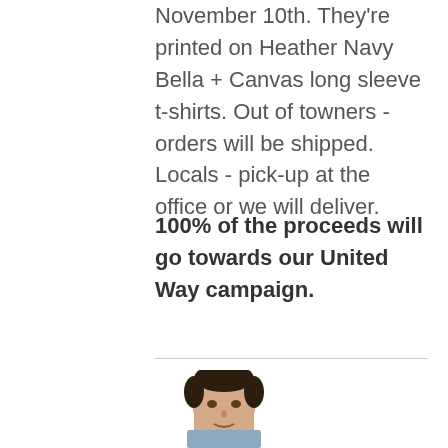November 10th. They're printed on Heather Navy Bella + Canvas long sleeve t-shirts. Out of towners - orders will be shipped. Locals - pick-up at the office or we will deliver.
100% of the proceeds will go towards our United Way campaign.
[Figure (photo): Partial photo of a man's head and shoulders, cropped at the bottom of the page]